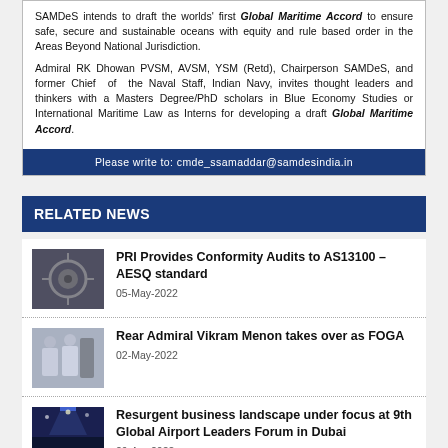SAMDeS intends to draft the worlds' first Global Maritime Accord to ensure safe, secure and sustainable oceans with equity and rule based order in the Areas Beyond National Jurisdiction.
Admiral RK Dhowan PVSM, AVSM, YSM (Retd), Chairperson SAMDeS, and former Chief of the Naval Staff, Indian Navy, invites thought leaders and thinkers with a Masters Degree/PhD scholars in Blue Economy Studies or International Maritime Law as Interns for developing a draft Global Maritime Accord.
Please write to: cmde_ssamaddar@samdesindia.in
RELATED NEWS
[Figure (photo): Close-up of mechanical/aircraft engine part]
PRI Provides Conformity Audits to AS13100 – AESQ standard
05-May-2022
[Figure (photo): Two naval officers in white uniforms at a ceremony]
Rear Admiral Vikram Menon takes over as FOGA
02-May-2022
[Figure (photo): Audience at a conference or forum event]
Resurgent business landscape under focus at 9th Global Airport Leaders Forum in Dubai
29-Apr-2022